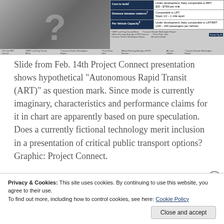[Figure (screenshot): Screenshot of a presentation slide showing a comparison table for transit modes. Left side shows a blurred image with a large question mark representing 'Autonomous Rapid Transit (ART)'. Right side shows a table with rows: Cost to build (Under development; likely comparable to BRT: $35-$75M per mile), Distance between stations (Comparable to LRT: Stops 1/2-1 mile apart), Per Vehicle Capacity (Under development; likely comparable to LRT/BRT (100-200 passengers per vehicle)). Footer cites LRT and BRT sources.]
Slide from Feb. 14th Project Connect presentation shows hypothetical "Autonomous Rapid Transit (ART)" as question mark. Since mode is currently imaginary, characteristics and performance claims for it in chart are apparently based on pure speculation. Does a currently fictional technology merit inclusion in a presentation of critical public transport options? Graphic: Project Connect.
Privacy & Cookies: This site uses cookies. By continuing to use this website, you agree to their use. To find out more, including how to control cookies, see here: Cookie Policy
Close and accept